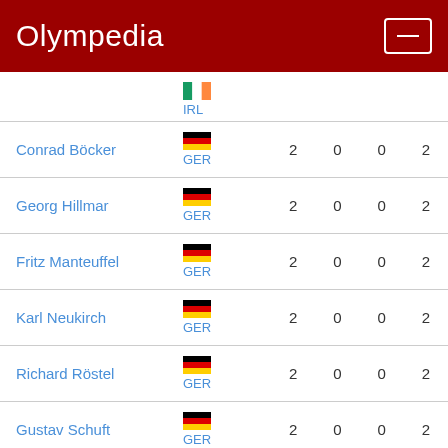Olympedia
| Athlete | Country | Col1 | Col2 | Col3 | Col4 |
| --- | --- | --- | --- | --- | --- |
|  | IRL |  |  |  |  |
| Conrad Böcker | GER | 2 | 0 | 0 | 2 |
| Georg Hillmar | GER | 2 | 0 | 0 | 2 |
| Fritz Manteuffel | GER | 2 | 0 | 0 | 2 |
| Karl Neukirch | GER | 2 | 0 | 0 | 2 |
| Richard Röstel | GER | 2 | 0 | 0 | 2 |
| Gustav Schuft | GER | 2 | 0 | 0 | 2 |
| Alfréd Hajós | HUN | 2 | 0 | 0 | 2 |